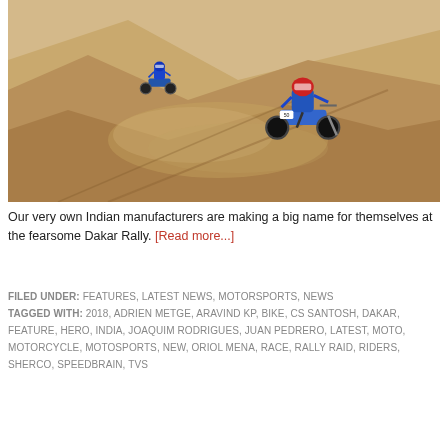[Figure (photo): Two motorcycle riders racing through sand dunes, kicking up dust clouds. The riders wear blue gear and ride dirt bikes across a desert landscape with large sand dunes in the background.]
Our very own Indian manufacturers are making a big name for themselves at the fearsome Dakar Rally. [Read more...]
FILED UNDER: FEATURES, LATEST NEWS, MOTORSPORTS, NEWS
TAGGED WITH: 2018, ADRIEN METGE, ARAVIND KP, BIKE, CS SANTOSH, DAKAR, FEATURE, HERO, INDIA, JOAQUIM RODRIGUES, JUAN PEDRERO, LATEST, MOTO, MOTORCYCLE, MOTOSPORTS, NEW, ORIOL MENA, RACE, RALLY RAID, RIDERS, SHERCO, SPEEDBRAIN, TVS